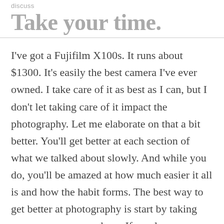discuss
Take your time.
I've got a Fujifilm X100s. It runs about $1300. It's easily the best camera I've ever owned. I take care of it as best as I can, but I don't let taking care of it impact the photography. Let me elaborate on that a bit better. You'll get better at each section of what we talked about slowly. And while you do, you'll be amazed at how much easier it all is and how the habit forms. The best way to get better at photography is start by taking your camera everywhere. If you leave your house, your camera leaves